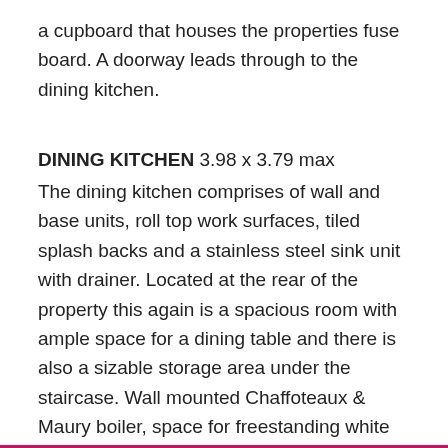a cupboard that houses the properties fuse board. A doorway leads through to the dining kitchen.
DINING KITCHEN 3.98 x 3.79 max
The dining kitchen comprises of wall and base units, roll top work surfaces, tiled splash backs and a stainless steel sink unit with drainer. Located at the rear of the property this again is a spacious room with ample space for a dining table and there is also a sizable storage area under the staircase. Wall mounted Chaffoteaux & Maury boiler, space for freestanding white goods, picture rail and a rear window faces over the rear patio garden. A timber door leads to the rear garden and a doorway leads to the lounge.
FIRST FLOOR LANDING
In between the lounge and dining kitchen a staircase with handrail ascends to the first floor landing. Doorways lead